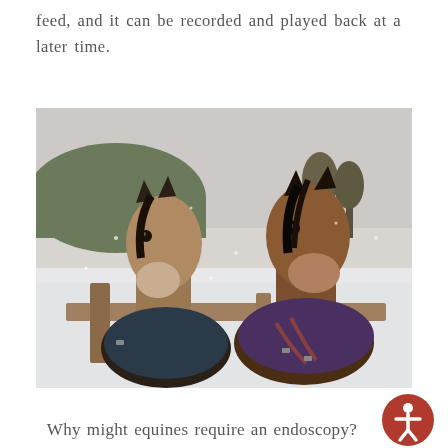feed, and it can be recorded and played back at a later time.
[Figure (photo): Two horses wearing winter blankets/rugs standing at a wooden fence in a snowy field, facing the camera. A snow-covered hillside with trees is visible in the background. The left horse is lighter brown with a dark mane; the right horse is darker brown with a dark mane.]
Why might equines require an endoscopy?